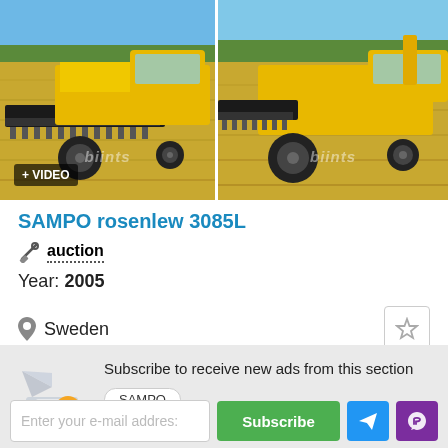[Figure (photo): Two yellow combine harvesters (SAMPO rosenlew 3085L) in a harvested field with blue sky. Left image has a '+ VIDEO' badge and a watermark. Right image has a similar watermark.]
SAMPO rosenlew 3085L
auction
Year: 2005
Sweden
Subscribe to receive new ads from this section
SAMPO
Enter your e-mail addres:
Subscribe